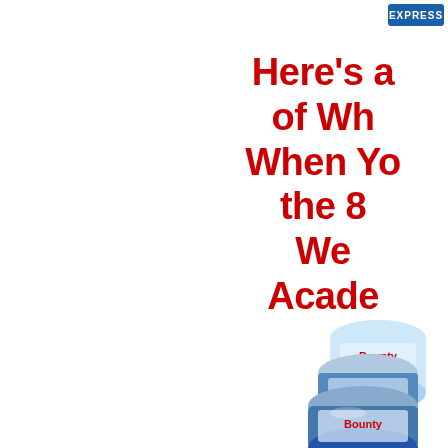[Figure (logo): Blue rectangular button/badge with text 'EXPRESS' in white, positioned top right corner]
Here's a of Wh When Yo the 8 We Acade
[Figure (photo): Stack of Bounty or similar paper towel/cleaning product packages, partially visible at bottom right corner]